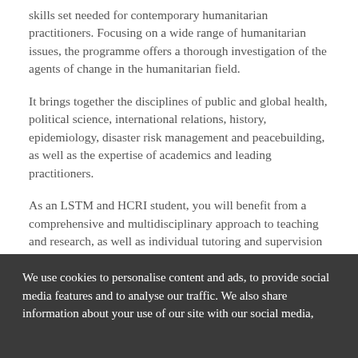skills set needed for contemporary humanitarian practitioners. Focusing on a wide range of humanitarian issues, the programme offers a thorough investigation of the agents of change in the humanitarian field.
It brings together the disciplines of public and global health, political science, international relations, history, epidemiology, disaster risk management and peacebuilding, as well as the expertise of academics and leading practitioners.
As an LSTM and HCRI student, you will benefit from a comprehensive and multidisciplinary approach to teaching and research, as well as individual tutoring and supervision from academics from a wide range of disciplines.
Unique Partnership
The programme is delivered jointly by LSTM and HCRI, in partnership with international medical humanitarian organisation
We use cookies to personalise content and ads, to provide social media features and to analyse our traffic. We also share information about your use of our site with our social media,